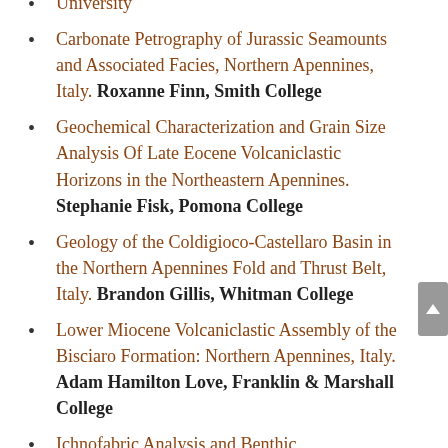University
Carbonate Petrography of Jurassic Seamounts and Associated Facies, Northern Apennines, Italy. Roxanne Finn, Smith College
Geochemical Characterization and Grain Size Analysis Of Late Eocene Volcaniclastic Horizons in the Northeastern Apennines. Stephanie Fisk, Pomona College
Geology of the Coldigioco-Castellaro Basin in the Northern Apennines Fold and Thrust Belt, Italy. Brandon Gillis, Whitman College
Lower Miocene Volcaniclastic Assembly of the Bisciaro Formation: Northern Apennines, Italy. Adam Hamilton Love, Franklin & Marshall College
Ichnofabric Analysis and Benthic